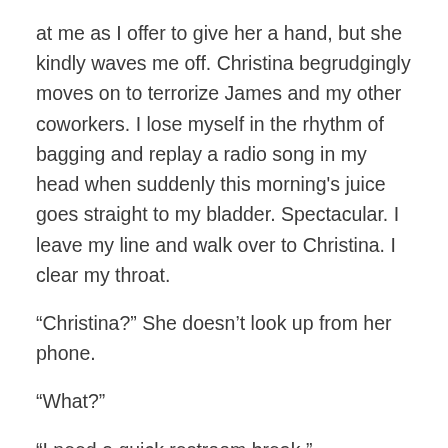at me as I offer to give her a hand, but she kindly waves me off. Christina begrudgingly moves on to terrorize James and my other coworkers. I lose myself in the rhythm of bagging and replay a radio song in my head when suddenly this morning's juice goes straight to my bladder. Spectacular. I leave my line and walk over to Christina. I clear my throat.

"Christina?" She doesn't look up from her phone.

"What?"

"I need a quick restroom break."

"I have two people on break already. You're gonna have to wait."

I feel like I'm back in school again. I was mostly an